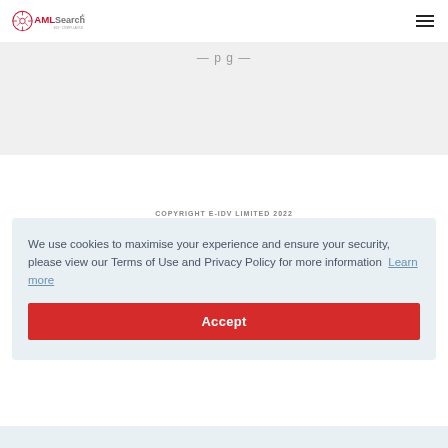[Figure (logo): AML Search 360 Compliance logo with red circuit icon and AML in red, Search in gray]
COPYRIGHT E-IDV LIMITED 2022
We use cookies to maximise your experience and ensure your security, please view our Terms of Use and Privacy Policy for more information  Learn more
Accept